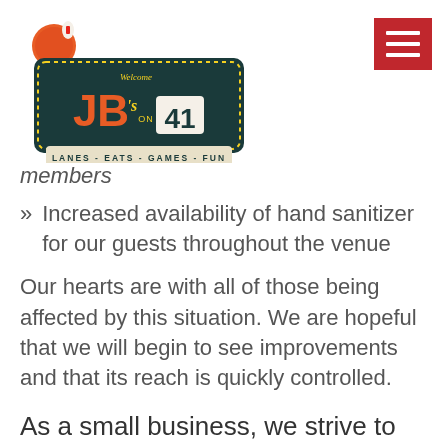[Figure (logo): JB's on 41 retro bowling alley logo with tagline LANES - EATS - GAMES - FUN]
members
» Increased availability of hand sanitizer for our guests throughout the venue
Our hearts are with all of those being affected by this situation. We are hopeful that we will begin to see improvements and that its reach is quickly controlled.
As a small business, we strive to continue to support the community.